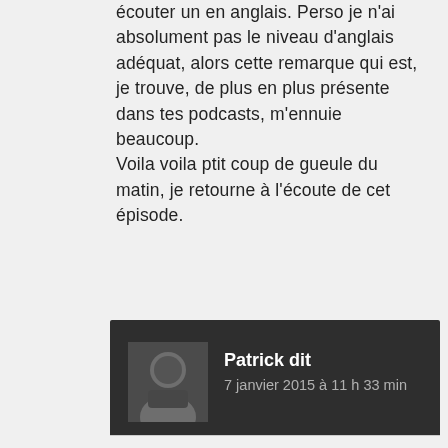écouter un en anglais. Perso je n'ai absolument pas le niveau d'anglais adéquat, alors cette remarque qui est, je trouve, de plus en plus présente dans tes podcasts, m'ennuie beaucoup.
Voila voila ptit coup de gueule du matin, je retourne à l'écoute de cet épisode.
Répondre
Patrick dit
7 janvier 2015 à 11 h 33 min